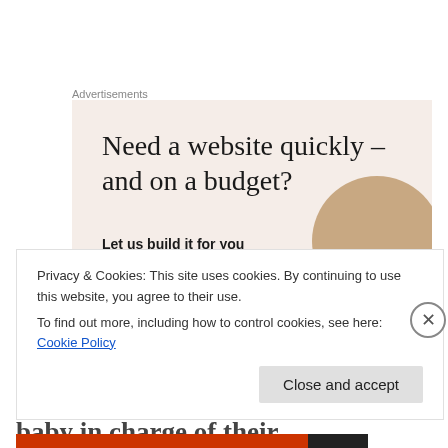Advertisements
[Figure (illustration): Advertisement banner with beige/cream background. Large serif headline reads 'Need a website quickly – and on a budget?' with a bold subline 'Let us build it for you'. Decorative circular image (dog) on the right side.]
Little Dickie's “uncles” said they thought it would be disconcerting and spooky to have a baby in charge of their
Privacy & Cookies: This site uses cookies. By continuing to use this website, you agree to their use.
To find out more, including how to control cookies, see here: Cookie Policy
Close and accept